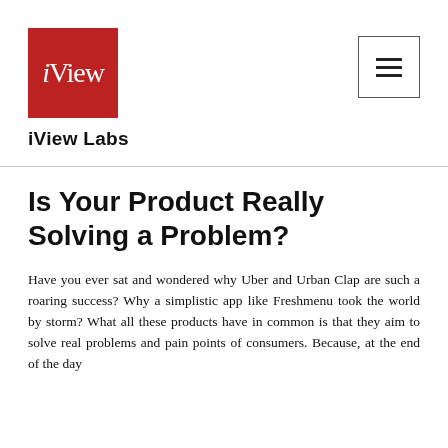[Figure (logo): iView Labs logo — red square background with white serif text reading 'iView']
iView Labs
Is Your Product Really Solving a Problem?
Have you ever sat and wondered why Uber and Urban Clap are such a roaring success? Why a simplistic app like Freshmenu took the world by storm? What all these products have in common is that they aim to solve real problems and pain points of consumers. Because, at the end of the day